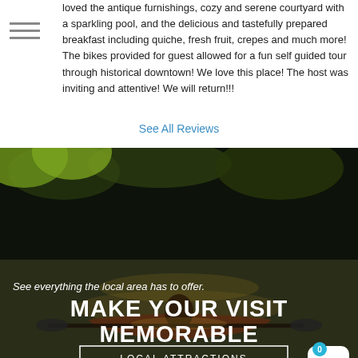loved the antique furnishings, cozy and serene courtyard with a sparkling pool, and the delicious and tastefully prepared breakfast including quiche, fresh fruit, crepes and much more! The bikes provided for guest allowed for a fun self guided tour through historical downtown! We love this place! The host was inviting and attentive! We will return!!!
See All Reviews
[Figure (photo): Background photo of a person kayaking on a dark, tree-lined river with dappled sunlight. Overlay text reads: 'See everything the local area has to offer. MAKE YOUR VISIT MEMORABLE'. A 'LOCAL ATTRACTIONS' button is shown at the bottom with a shopping cart icon in the bottom right corner.]